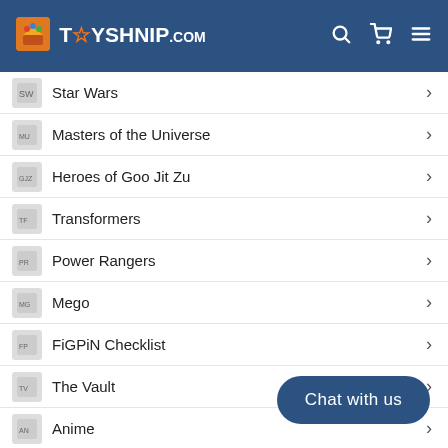TOYSHNIP.COM
Star Wars
Masters of the Universe
Heroes of Goo Jit Zu
Transformers
Power Rangers
Mego
FiGPiN Checklist
The Vault
Anime